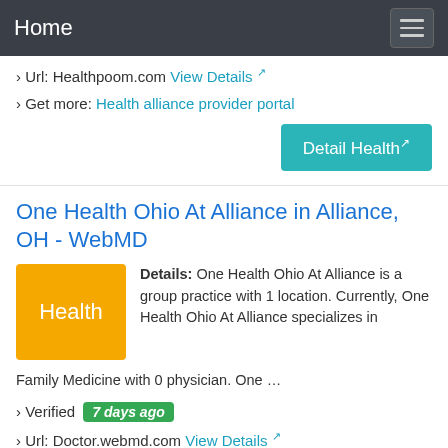Home
› Url: Healthpoom.com View Details ↗
› Get more: Health alliance provider portal
Detail Health ↗
One Health Ohio At Alliance in Alliance, OH - WebMD
Details: One Health Ohio At Alliance is a group practice with 1 location. Currently, One Health Ohio At Alliance specializes in Family Medicine with 0 physician. One …
› Verified 7 days ago
› Url: Doctor.webmd.com View Details ↗